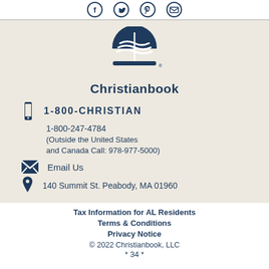[Figure (logo): Social media icons: Facebook, Twitter, Pinterest, Email in dark blue circle outlines]
[Figure (logo): Christianbook logo: dark blue open book with sun/waves above, text 'Christianbook' below]
1-800-CHRISTIAN
1-800-247-4784
(Outside the United States and Canada Call: 978-977-5000)
Email Us
140 Summit St. Peabody, MA 01960
Tax Information for AL Residents
Terms & Conditions
Privacy Notice
© 2022 Christianbook, LLC
* 34 *